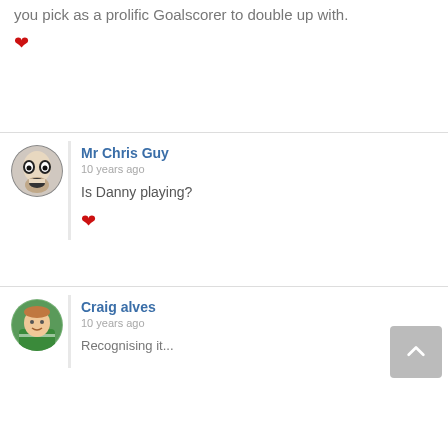you pick as a prolific Goalscorer to double up with.
❤
Mr Chris Guy
10 years ago
Is Danny playing?
❤
Craig alves
10 years ago